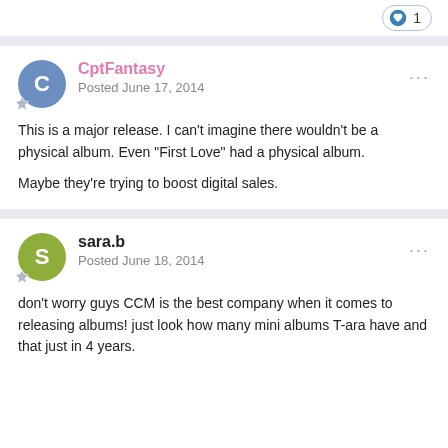[Figure (other): Like button with heart icon showing count of 1]
CptFantasy
Posted June 17, 2014
This is a major release. I can't imagine there wouldn't be a physical album. Even "First Love" had a physical album.

Maybe they're trying to boost digital sales.
sara.b
Posted June 18, 2014
don't worry guys CCM is the best company when it comes to releasing albums! just look how many mini albums T-ara have and that just in 4 years.